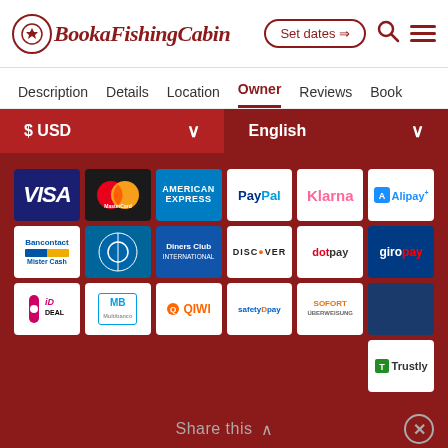BookaFishingCabin — Set dates — Search — Menu
Description | Details | Location | Owner | Reviews | Book
$ USD  English
[Figure (infographic): Payment method logos grid: Visa, MasterCard, American Express, PayPal, Klarna, Alipay, Bancontact Mister Cash, Diners Club (blue), Diners Club International, Discover, dotpay, giropay, iDEAL, MB (Multibanco), QIWI, safetyPay, SOFORT Überweisung, CB, Trustly]
Share this ∧